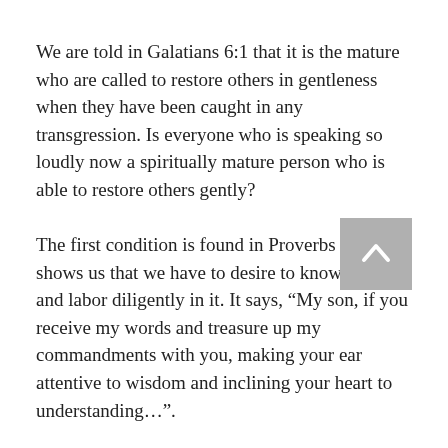We are told in Galatians 6:1 that it is the mature who are called to restore others in gentleness when they have been caught in any transgression. Is everyone who is speaking so loudly now a spiritually mature person who is able to restore others gently?
The first condition is found in Proverbs 2:1-2 shows us that we have to desire to know the truth and labor diligently in it. It says, “My son, if you receive my words and treasure up my commandments with you, making your ear attentive to wisdom and inclining your heart to understanding…”.
This person wants to conceal the